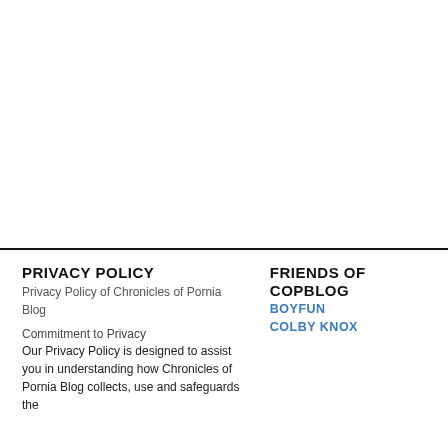PRIVACY POLICY
Privacy Policy of Chronicles of Pornia Blog
Commitment to Privacy
Our Privacy Policy is designed to assist you in understanding how Chronicles of Pornia Blog collects, use and safeguards the
FRIENDS OF COPBLOG
BOYFUN
COLBY KNOX